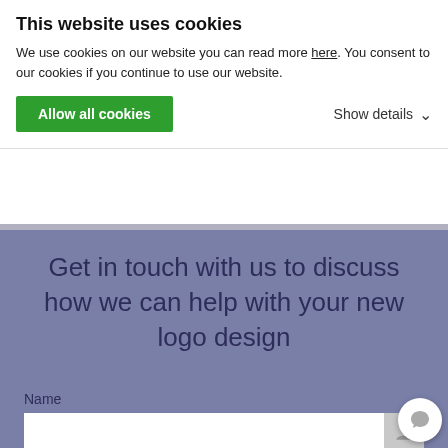This website uses cookies
We use cookies on our website you can read more here. You consent to our cookies if you continue to use our website.
Allow all cookies
Show details
Get in touch with us to discuss how we can help with your new logo design
Name
Company
E-mail